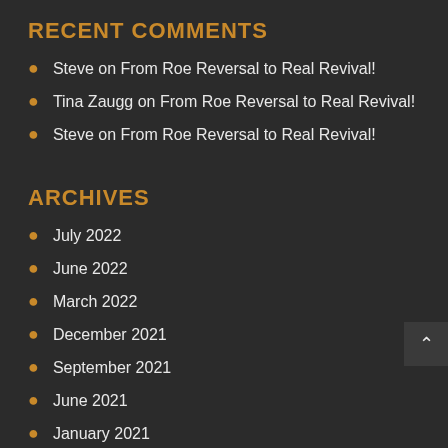RECENT COMMENTS
Steve on From Roe Reversal to Real Revival!
Tina Zaugg on From Roe Reversal to Real Revival!
Steve on From Roe Reversal to Real Revival!
ARCHIVES
July 2022
June 2022
March 2022
December 2021
September 2021
June 2021
January 2021
December 2020